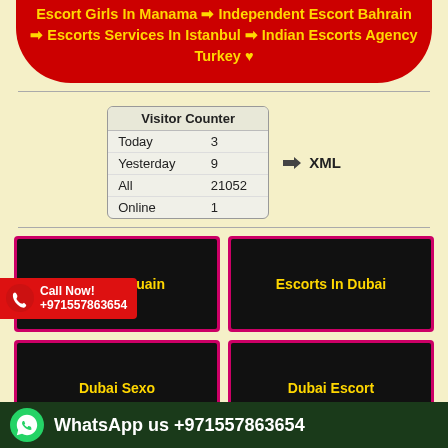Escort Girls In Manama ➡ Independent Escort Bahrain ➡ Escorts Services In Istanbul ➡ Indian Escorts Agency Turkey ♥
| Visitor Counter |  |
| --- | --- |
| Today | 3 |
| Yesterday | 9 |
| All | 21052 |
| Online | 1 |
➡ XML
[Figure (other): Button: Umm Al Quain (black background, yellow text, pink border)]
[Figure (other): Button: Escorts In Dubai (black background, yellow text, pink border)]
[Figure (other): Call Now! +971557863654 badge (red background with phone icon)]
[Figure (other): Button: Dubai Sexo (black background, yellow text, pink border)]
[Figure (other): Button: Dubai Escort (black background, yellow text, pink border)]
WhatsApp us +971557863654